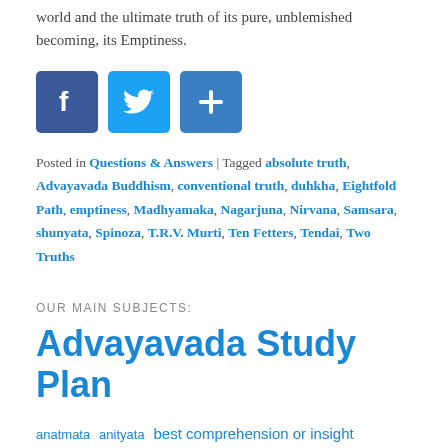world and the ultimate truth of its pure, unblemished becoming, its Emptiness.
[Figure (other): Three social media sharing buttons: Facebook (blue square with F), Twitter (blue square with bird icon), Share (blue square with plus icon)]
Posted in Questions & Answers | Tagged absolute truth, Advayavada Buddhism, conventional truth, duhkha, Eightfold Path, emptiness, Madhyamaka, Nagarjuna, Nirvana, Samsara, shunyata, Spinoza, T.R.V. Murti, Ten Fetters, Tendai, Two Truths
OUR MAIN SUBJECTS:
Advayavada Study Plan
anatmata anityata best comprehension or insight best resolution or determination caturtha lakshana clinging craving duhkha dukkha eighth step emptiness excerpts fifth step First Step Five Hindrances Five Precepts